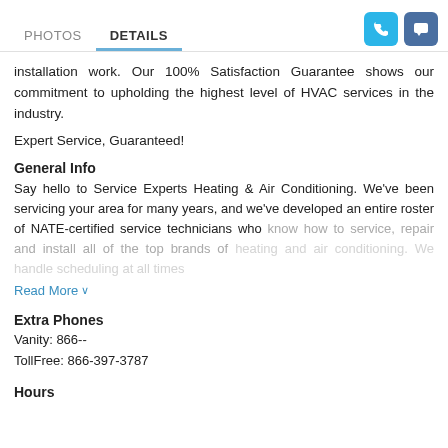PHOTOS  DETAILS
installation work. Our 100% Satisfaction Guarantee shows our commitment to upholding the highest level of HVAC services in the industry.
Expert Service, Guaranteed!
General Info
Say hello to Service Experts Heating & Air Conditioning. We've been servicing your area for many years, and we've developed an entire roster of NATE-certified service technicians who know how to service, repair and install all of the top brands of heating and air conditioning. We handle scheduling at all times
Read More
Extra Phones
Vanity: 866--
TollFree: 866-397-3787
Hours